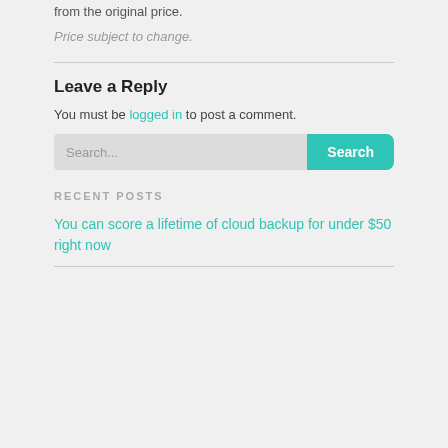from the original price.
Price subject to change.
Leave a Reply
You must be logged in to post a comment.
Search...
RECENT POSTS
You can score a lifetime of cloud backup for under $50 right now